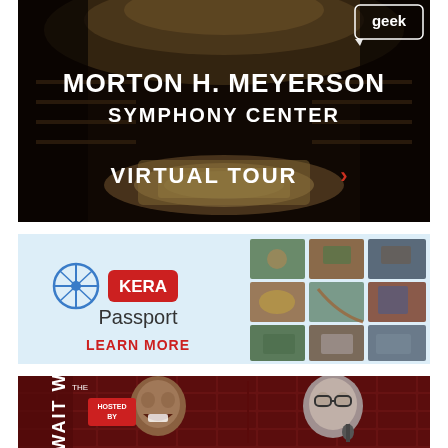[Figure (photo): Morton H. Meyerson Symphony Center virtual tour advertisement. Dark interior photo of concert hall with text 'MORTON H. MEYERSON SYMPHONY CENTER' in bold white, 'VIRTUAL TOUR >' in white with red chevron, and a 'geek' logo in top right corner.]
[Figure (photo): KERA Passport advertisement on light blue background. Shows star/compass KERA logo icon, red KERA badge, text 'Passport' and 'LEARN MORE' in red, with a grid of nature and documentary photos on the right.]
[Figure (photo): Wait Wait Don't Tell Me advertisement showing two men against a dark red brick background. Left man is laughing, right man holds a microphone. Text reads 'HOSTED BY' and vertical text 'WAIT W...']